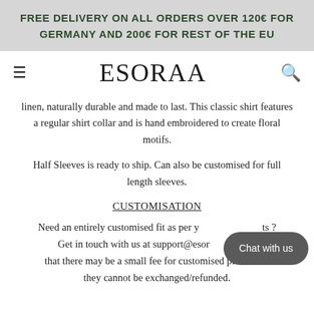FREE DELIVERY ON ALL ORDERS OVER 120€ FOR GERMANY AND 200€ FOR REST OF THE EU
ESORAA
linen, naturally durable and made to last. This classic shirt features a regular shirt collar and is hand embroidered to create floral motifs.
Half Sleeves is ready to ship. Can also be customised for full length sleeves.
CUSTOMISATION
Need an entirely customised fit as per y...ts ? Get in touch with us at support@esor...e that there may be a small fee for customised pieces and they cannot be exchanged/refunded.